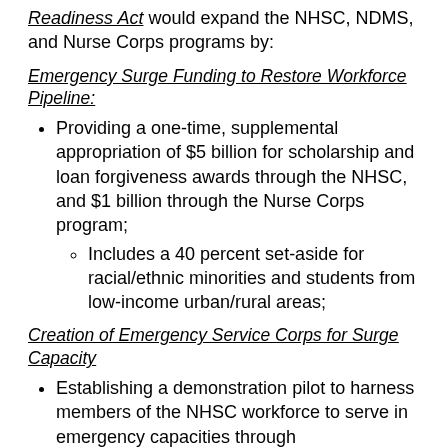Readiness Act would expand the NHSC, NDMS, and Nurse Corps programs by:
Emergency Surge Funding to Restore Workforce Pipeline:
Providing a one-time, supplemental appropriation of $5 billion for scholarship and loan forgiveness awards through the NHSC, and $1 billion through the Nurse Corps program;
Includes a 40 percent set-aside for racial/ethnic minorities and students from low-income urban/rural areas;
Creation of Emergency Service Corps for Surge Capacity
Establishing a demonstration pilot to harness members of the NHSC workforce to serve in emergency capacities through